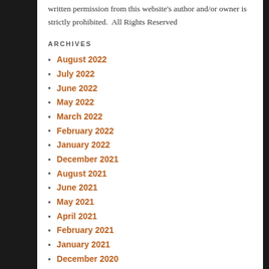written permission from this website's author and/or owner is strictly prohibited.  All Rights Reserved
ARCHIVES
August 2022
July 2022
June 2022
May 2022
March 2022
February 2022
January 2022
December 2021
August 2021
June 2021
May 2021
April 2021
February 2021
January 2021
December 2020
September 2020
March 2020